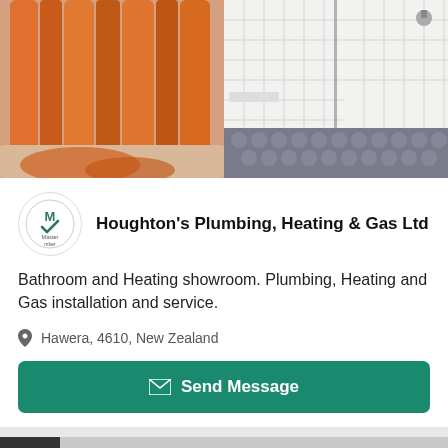[Figure (photo): Two bathroom photos side by side: left shows orange shower curtain in a bathtub, right shows a modern tiled shower with glass panel and patterned mosaic floor tiles]
Houghton's Plumbing, Heating & Gas Ltd
Bathroom and Heating showroom. Plumbing, Heating and Gas installation and service.
Hawera, 4610, New Zealand
Send Message
[Figure (photo): Bottom portion of a showroom interior with text 'alve' visible and a sign reading 'RIFENC...' partially visible, with a badge showing '1/1']